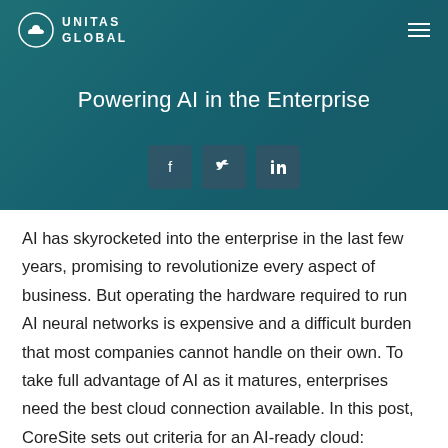[Figure (logo): Unitas Global logo with cloud icon circle and text UNITAS GLOBAL]
Powering AI in the Enterprise
[Figure (infographic): Social share buttons: Facebook, Twitter, LinkedIn]
AI has skyrocketed into the enterprise in the last few years, promising to revolutionize every aspect of business. But operating the hardware required to run AI neural networks is expensive and a difficult burden that most companies cannot handle on their own. To take full advantage of AI as it matures, enterprises need the best cloud connection available. In this post, CoreSite sets out criteria for an AI-ready cloud: